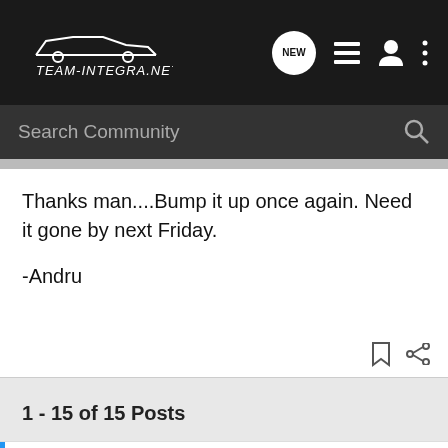[Figure (screenshot): Team-Integra.net navigation bar with logo, NEW chat button, list icon, user icon, and more icon]
[Figure (screenshot): Search Community search bar with magnifying glass icon]
Thanks man....Bump it up once again. Need it gone by next Friday.

-Andru
1 - 15 of 15 Posts
This is an older thread, you may not receive a response, and could be reviving an old thread. Please consider creating a new thread.